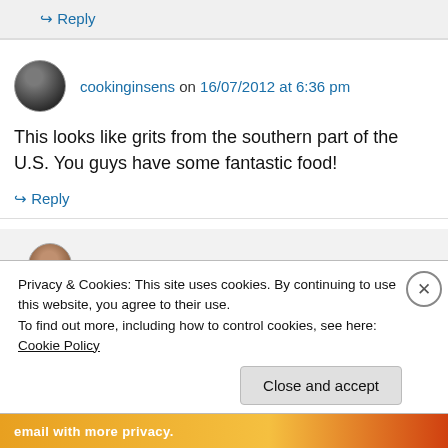↳ Reply
cookinginsens on 16/07/2012 at 6:36 pm
This looks like grits from the southern part of the U.S. You guys have some fantastic food!
↳ Reply
Georgia About on 18/07/2012 at 11:58 pm
Privacy & Cookies: This site uses cookies. By continuing to use this website, you agree to their use.
To find out more, including how to control cookies, see here: Cookie Policy
Close and accept
email with more privacy.